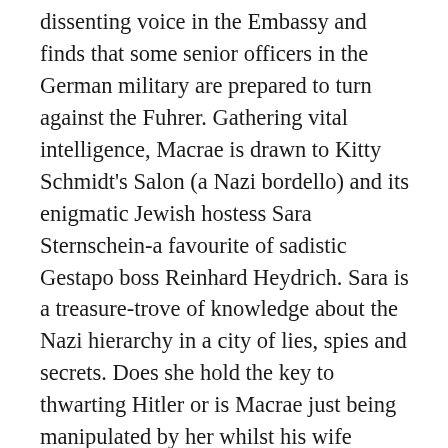dissenting voice in the Embassy and finds that some senior officers in the German military are prepared to turn against the Fuhrer. Gathering vital intelligence, Macrae is drawn to Kitty Schmidt's Salon (a Nazi bordello) and its enigmatic Jewish hostess Sara Sternschein–a favourite of sadistic Gestapo boss Reinhard Heydrich. Sara is a treasure-trove of knowledge about the Nazi hierarchy in a city of lies, spies and secrets. Does she hold the key to thwarting Hitler or is Macrae just being manipulated by her whilst his wife romantically pursues his most important German military contact, Florian Koenig? In James MacManus' absorbing new novel the author evokes a time and place when the personal and political stakes could not be higher and where the urge for peaceful compromise conflicts with higher ideals and a vicious regime bent on war. As loyalties are stretched to the limit and Europe slides towards another war, could just one act of great courage and sacrifice change